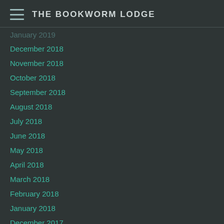THE BOOKWORM LODGE
January 2019
December 2018
November 2018
October 2018
September 2018
August 2018
July 2018
June 2018
May 2018
April 2018
March 2018
February 2018
January 2018
December 2017
November 2017
October 2017
September 2017
August 2017